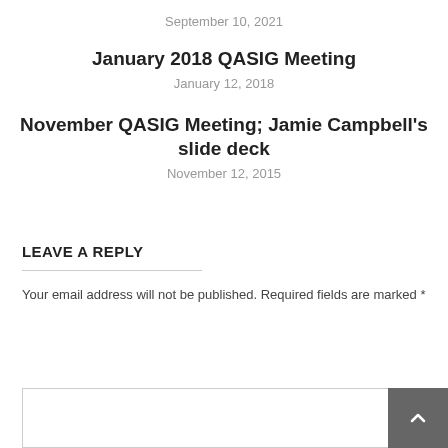September 10, 2021
January 2018 QASIG Meeting
January 12, 2018
November QASIG Meeting; Jamie Campbell's slide deck
November 12, 2015
LEAVE A REPLY
Your email address will not be published. Required fields are marked *